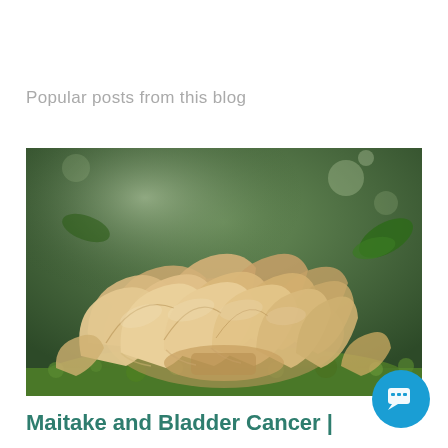Popular posts from this blog
[Figure (photo): Close-up photograph of a large maitake (hen-of-the-woods) mushroom cluster growing on green moss, with green foliage in the background. The mushroom has layered, fan-shaped tan/brown caps.]
Maitake and Bladder Cancer |